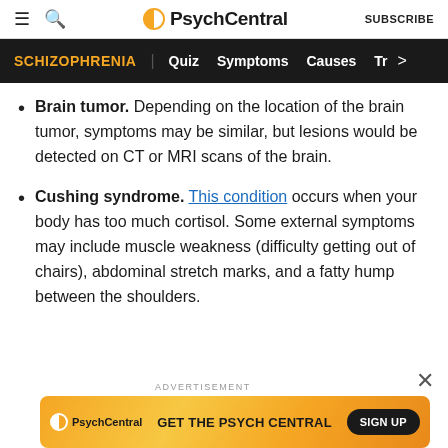PsychCentral — SUBSCRIBE
SCHIZOPHRENIA | Quiz  Symptoms  Causes  Tr
Brain tumor. Depending on the location of the brain tumor, symptoms may be similar, but lesions would be detected on CT or MRI scans of the brain.
Cushing syndrome. This condition occurs when your body has too much cortisol. Some external symptoms may include muscle weakness (difficulty getting out of chairs), abdominal stretch marks, and a fatty hump between the shoulders.
[Figure (screenshot): PsychCentral advertisement banner: GET THE PSYCH CENTRAL — SIGN UP button]